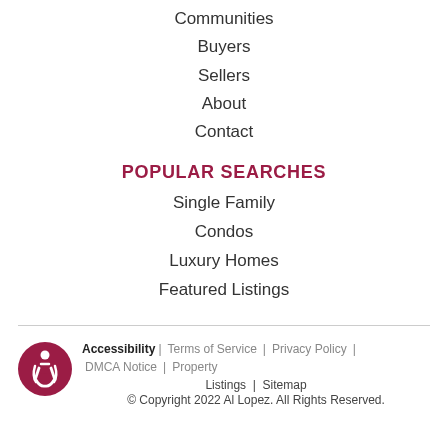Communities
Buyers
Sellers
About
Contact
POPULAR SEARCHES
Single Family
Condos
Luxury Homes
Featured Listings
Accessibility | Terms of Service | Privacy Policy | DMCA Notice | Property Listings | Sitemap
© Copyright 2022 Al Lopez. All Rights Reserved.